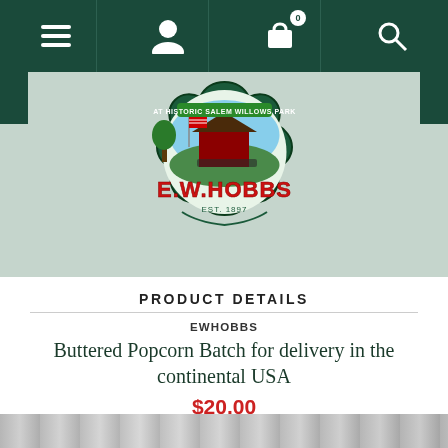Navigation bar with menu, account, cart, and search icons
[Figure (logo): E.W. Hobbs logo - circular badge with 'At Historic Salem Willows Park' text, illustration of a building with American flag, 'E.W. HOBBS' in red text, 'EST. 1897' below]
PRODUCT DETAILS
EWHOBBS
Buttered Popcorn Batch for delivery in the continental USA
$20.00
[Figure (photo): Partial bottom image strip showing a product photo]